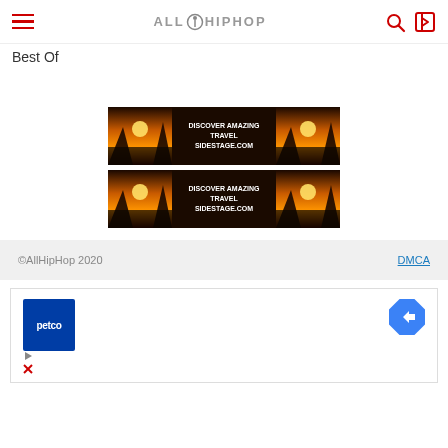AllHipHop - Best Of
Best Of
[Figure (illustration): Advertisement banner with sunset/cliff image and text: DISCOVER AMAZING TRAVEL SIDESTAGE.COM (first banner)]
[Figure (illustration): Advertisement banner with sunset/cliff image and text: DISCOVER AMAZING TRAVEL SIDESTAGE.COM (second banner)]
©AllHipHop 2020   DMCA
[Figure (illustration): Petco advertisement with blue petco logo and a blue diamond arrow icon]